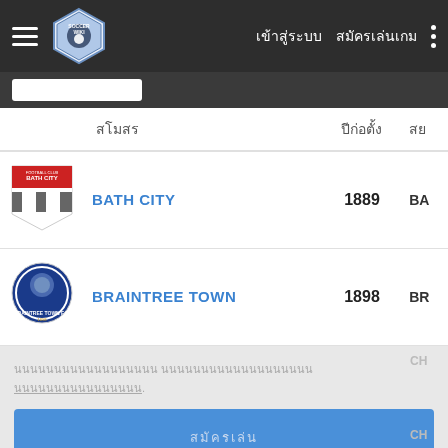เข้าสู่ระบบ  สมัครเล่นเกม
| สโมสร | ปีก่อตั้ง | สย |
| --- | --- | --- |
| BATH CITY | 1889 | BA |
| BRAINTREE TOWN | 1898 | BR |
นนนนนนนนนนนนนนนนนน นนนนนนนนนนนนนนนนนนน นนนนนนนนนนนนนนนน
สมัครเล่น